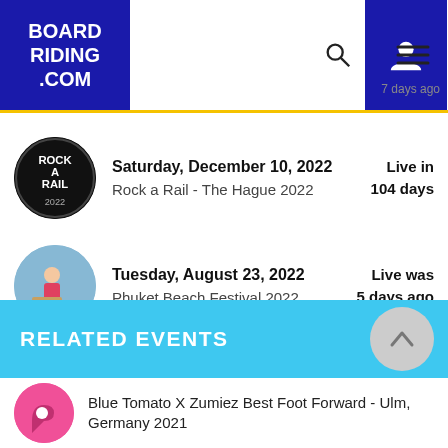BOARD RIDING .COM
7 days ago
Saturday, December 10, 2022 — Rock a Rail - The Hague 2022 — Live in 104 days
Tuesday, August 23, 2022 — Phuket Beach Festival 2022 — Live was 5 days ago
View all streams »
RELATED EVENTS
Blue Tomato X Zumiez Best Foot Forward - Ulm, Germany 2021